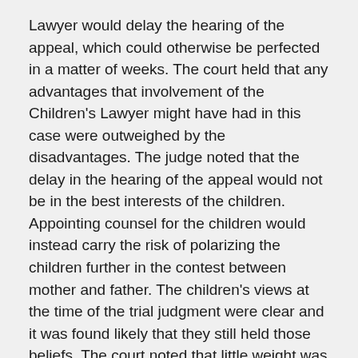Lawyer would delay the hearing of the appeal, which could otherwise be perfected in a matter of weeks. The court held that any advantages that involvement of the Children's Lawyer might have had in this case were outweighed by the disadvantages. The judge noted that the delay in the hearing of the appeal would not be in the best interests of the children. Appointing counsel for the children would instead carry the risk of polarizing the children further in the contest between mother and father. The children's views at the time of the trial judgment were clear and it was found likely that they still held those beliefs. The court noted that little weight was to be given to the children's preferences where they were the result of the mother's deliberate attempts to ruin the children's relationship with their father. Despite the conflict the children had been exposed to, they seemed to be doing well and at no point prior to this motion had any party requested that the Children's Lawyer be involved at any stage in the litigation. The court held that possible new